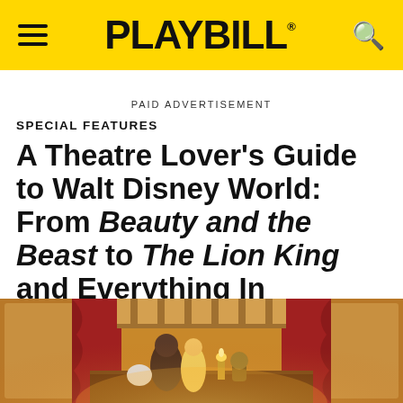PLAYBILL
PAID ADVERTISEMENT
SPECIAL FEATURES
A Theatre Lover's Guide to Walt Disney World: From Beauty and the Beast to The Lion King and Everything In Between
[Figure (photo): A theatrical stage scene from Beauty and the Beast at Walt Disney World, showing characters including the Beast, Mrs. Potts, Lumière and Cogsworth on a ornate stage with red curtains, golden columns, and warm stage lighting.]